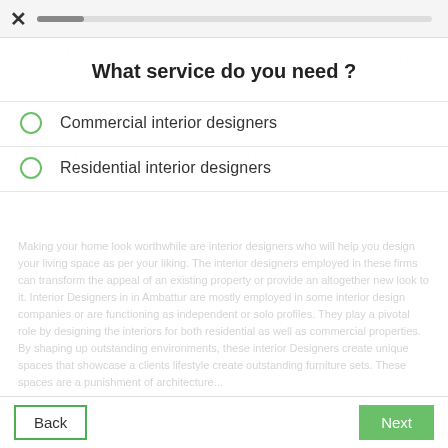[Figure (screenshot): Top navigation bar with close X button and progress bar]
What service do you need ?
Commercial interior designers
Residential interior designers
Making your home look worthwhile are interior designers who will help you design your living space as per your liking. The interior designers employed in these firms can transform the appeal of an existing property or provide an altogether new look to it. Interior Designers in in Ambattur are mostly employed in some interior design companies or are functioning as independent or solo profiles. They play a pivotal role by designing the interiors for both residential as well as commercial properties. By shaping up outstanding environments, these interior Designers create unique spaces that showcase a clients lifestyle create outstanding furniture sets. These spaces are a punishment of architecture...
Back   Next